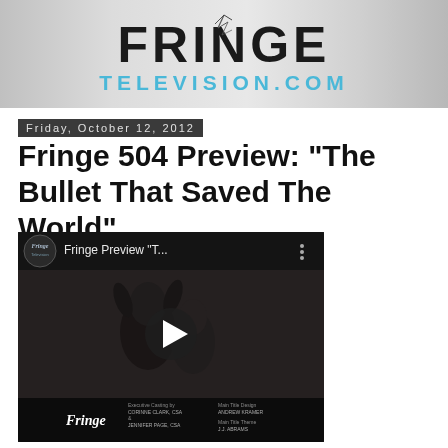[Figure (logo): Fringe Television.com website banner/logo with shattered glass effect on the letter I in FRINGE, dark text on gray gradient background, with TELEVISION.COM in teal/blue below]
Friday, October 12, 2012
Fringe 504 Preview: "The Bullet That Saved The World"
[Figure (screenshot): Embedded YouTube video player showing Fringe Preview "T..." with a dark scene of a figure with hands raised, play button overlay, Fringe logo and credits at bottom including Casting by Corinne Clark CSA & Jennifer Page CSA, Main Title Design Andrew Kramer, Main Title Theme J.J. Abrams]